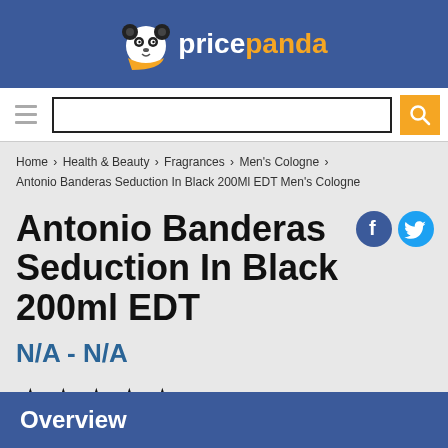pricepanda
Home › Health & Beauty › Fragrances › Men's Cologne › Antonio Banderas Seduction In Black 200Ml EDT Men's Cologne
Antonio Banderas Seduction In Black 200ml EDT
N/A - N/A
★★★★★
Overview